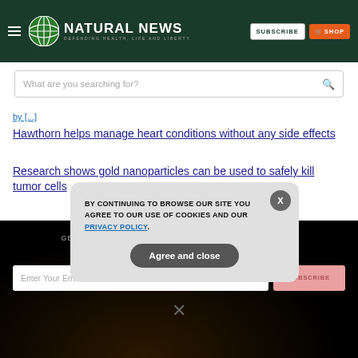Natural News — Defending Health, Life and Liberty
What are you searching for?
by [partial link]
Hawthorn helps manage heart conditions without any side effects
Research shows gold nanoparticles can be used to safely kill tumor cells
GET THE WORLD'S BEST NATURAL HEALTH NEWSLETTER DELIVERED STRAIGHT TO YOUR INBOX
Enter Your Email Address
SUBSCRIBE
BY CONTINUING TO BROWSE OUR SITE YOU AGREE TO OUR USE OF COOKIES AND OUR PRIVACY POLICY.
Agree and close